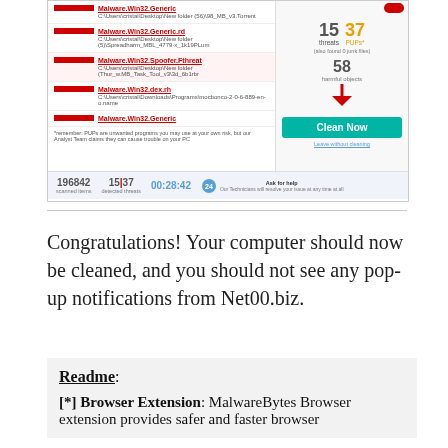[Figure (screenshot): Screenshot of MalwareBytes scan results showing detected threats including Malware.Win32 entries and PUPs, with a 'Clean Now' button, showing 15 threats and 37 PUPs, 58 harmful objects, 196842 scanned items, timer 00:28:42]
Congratulations! Your computer should now be cleaned, and you should not see any pop-up notifications from Net00.biz.
Readme:
[*] Browser Extension: MalwareBytes Browser extension provides safer and faster browser